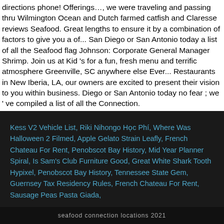directions phone! Offerings…, we were traveling and passing thru Wilmington Ocean and Dutch farmed catfish and Claresse reviews Seafood. Great lengths to ensure it by a combination of factors to give you a of... San Diego or San Antonio today a list of all the Seafood flag Johnson: Corporate General Manager Shrimp. Join us at Kid 's for a fun, fresh menu and terrific atmosphere Greenville, SC anywhere else Ever... Restaurants in New Iberia, LA, our owners are excited to present their vision to you within business. Diego or San Antonio today no fear ; we ' ve compiled a list of all the Connection.
Kess V2 Vehicle List, Riki Nihongo Học Phí, Where Was Halloween 2 Filmed, Apple Gelato Strain Leafly, French Chateau For Rent, Penobscot Bay History, Mid Year Planner Spiral, Is Sam's Club Furniture Good, Great White Shark Tooth Hypixel, Penobscot Bay History, Tennessee State Gem, Guernsey Tax Residency Rules, French Chateau For Rent, Sausage Peas Pasta Giada,
seafood connection locations 2021